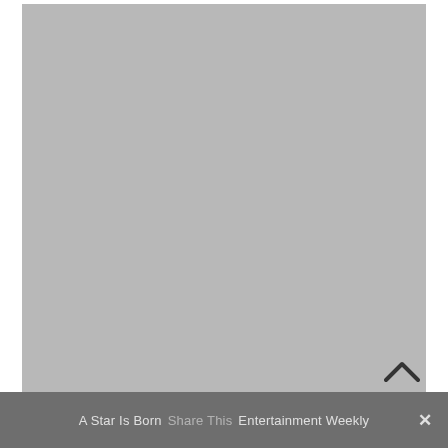[Figure (photo): Large gray placeholder image area occupying most of the page]
A Star Is Born  Share This  Entertainment Weekly  ×